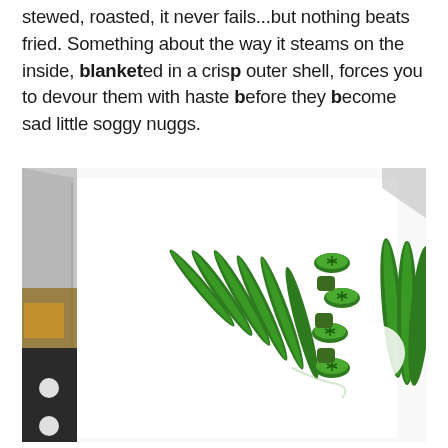stewed, roasted, it never fails...but nothing beats fried. Something about the way it steams on the inside, blanketed in a crisp outer shell, forces you to devour them with haste before they become sad little soggy nuggs.
[Figure (photo): Overhead photo of fresh okra pods, some whole and some sliced into rounds, arranged on a white cutting board alongside a chef's knife with a dark handle]